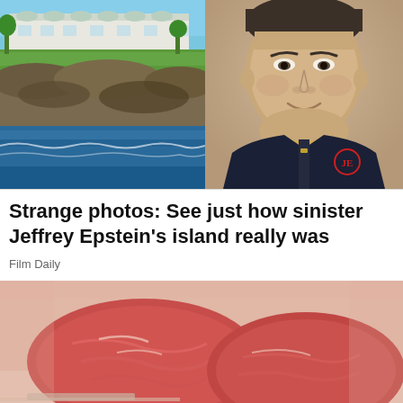[Figure (photo): Aerial/waterfront view of a large estate building on a rocky coastline with blue ocean water below and tropical vegetation]
[Figure (photo): Portrait photo of Jeffrey Epstein smiling, wearing a dark navy zip-up fleece jacket with a monogram logo]
Strange photos: See just how sinister Jeffrey Epstein's island really was
Film Daily
[Figure (photo): Close-up photo of raw red meat cuts on a surface, slightly blurred/bokeh background]